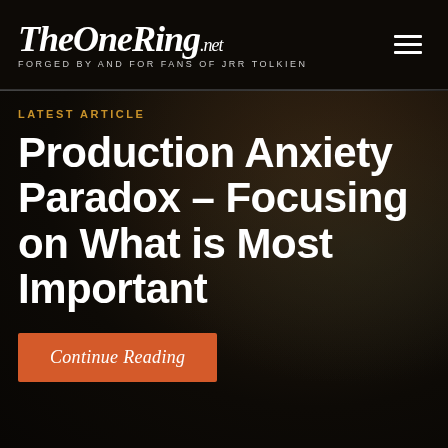TheOneRing.net — FORGED BY AND FOR FANS OF JRR TOLKIEN
LATEST ARTICLE
Production Anxiety Paradox – Focusing on What is Most Important
Continue Reading